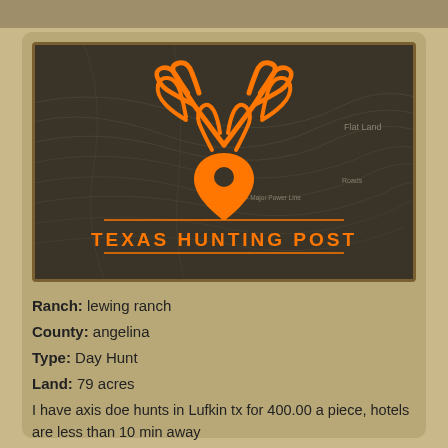[Figure (logo): Texas Hunting Post logo: orange deer antlers with a location pin icon on a dark topographic map background, with orange text 'TEXAS HUNTING POST' and orange horizontal lines above and below the text.]
Ranch: lewing ranch
County: angelina
Type: Day Hunt
Land: 79 acres
I have axis doe hunts in Lufkin tx for 400.00 a piece, hotels are less than 10 min away